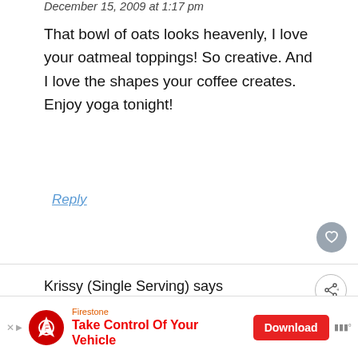December 15, 2009 at 1:17 pm
That bowl of oats looks heavenly, I love your oatmeal toppings! So creative. And I love the shapes your coffee creates. Enjoy yoga tonight!
Reply
Krissy (Single Serving) says
December 15, 2009 at 1:26 pm
John Krasinski was the only good thing
[Figure (infographic): Advertisement bar: Firestone logo, 'Take Control Of Your Vehicle' text, red Download button]